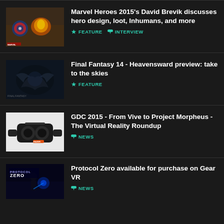Marvel Heroes 2015's David Brevik discusses hero design, loot, Inhumans, and more — FEATURE, INTERVIEW
Final Fantasy 14 - Heavensward preview: take to the skies — FEATURE
GDC 2015 - From Vive to Project Morpheus - The Virtual Reality Roundup — NEWS
Protocol Zero available for purchase on Gear VR — NEWS